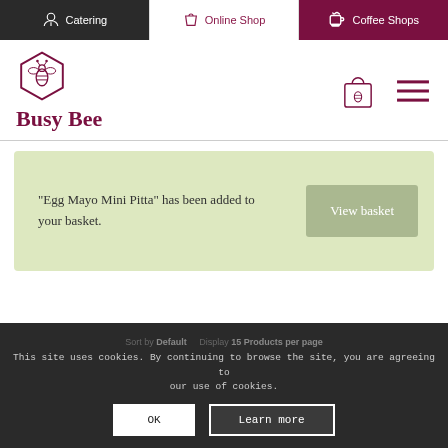Catering | Online Shop | Coffee Shops
[Figure (logo): Busy Bee logo with hexagon bee icon and bold maroon text 'Busy Bee']
“Egg Mayo Mini Pitta” has been added to your basket.
View basket
This site uses cookies. By continuing to browse the site, you are agreeing to our use of cookies.
Sort by Default   Display 15 Products per page
OK
Learn more